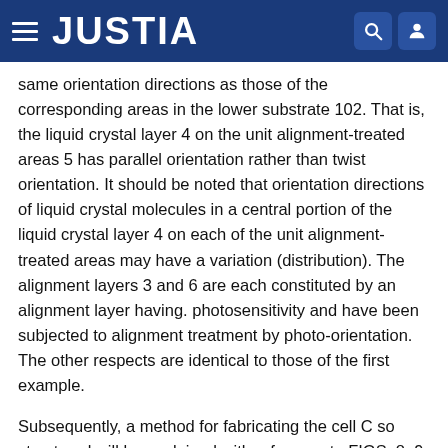JUSTIA
same orientation directions as those of the corresponding areas in the lower substrate 102. That is, the liquid crystal layer 4 on the unit alignment-treated areas 5 has parallel orientation rather than twist orientation. It should be noted that orientation directions of liquid crystal molecules in a central portion of the liquid crystal layer 4 on each of the unit alignment-treated areas may have a variation (distribution). The alignment layers 3 and 6 are each constituted by an alignment layer having. photosensitivity and have been subjected to alignment treatment by photo-orientation. The other respects are identical to those of the first example.
Subsequently, a method for fabricating the cell C so structured will be explained with reference to FIGS. 8, 9, and 10. FIG. 9 is a cross-sectional view showing a process